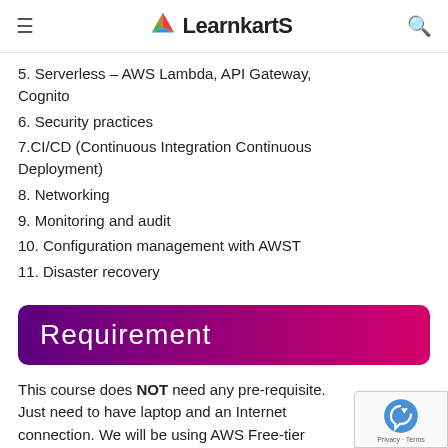LearnkartS
5. Serverless – AWS Lambda, API Gateway, Cognito
6. Security practices
7.CI/CD (Continuous Integration Continuous Deployment)
8. Networking
9. Monitoring and audit
10. Configuration management with AWST
11. Disaster recovery
Requirement
This course does NOT need any pre-requisite. Just need to have laptop and an Internet connection. We will be using AWS Free-tier